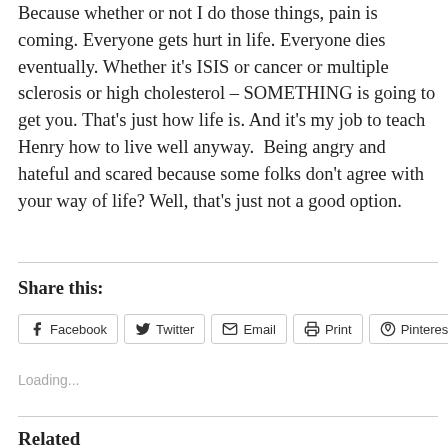Because whether or not I do those things, pain is coming. Everyone gets hurt in life. Everyone dies eventually. Whether it's ISIS or cancer or multiple sclerosis or high cholesterol – SOMETHING is going to get you. That's just how life is. And it's my job to teach Henry how to live well anyway.  Being angry and hateful and scared because some folks don't agree with your way of life? Well, that's just not a good option.
Share this:
Facebook  Twitter  Email  Print  Pinterest
Loading...
Related